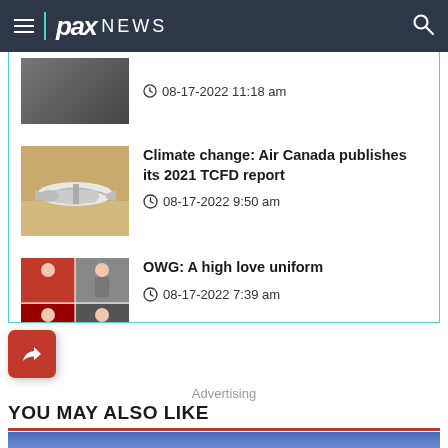pax NEWS
08-17-2022 11:18 am
Climate change: Air Canada publishes its 2021 TCFD report
08-17-2022 9:50 am
OWG: A high love uniform
08-17-2022 7:39 am
Advertising
YOU MAY ALSO LIKE